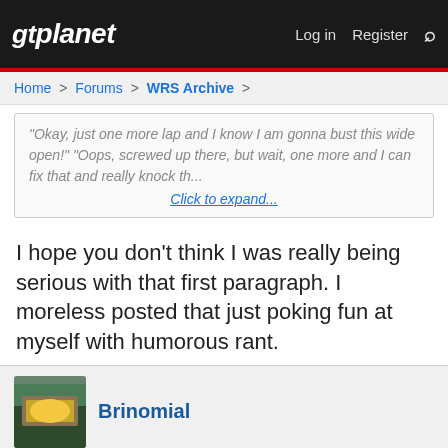gtplanet — Log in  Register
Home > Forums > WRS Archive >
"Okay, just one more lap and I know I am gonna bust this wide open!" "Oops, screwed up there, but wait, one more and I can fix that and really knock th... Click to expand...
I hope you don't think I was really being serious with that first paragraph. I moreless posted that just poking fun at myself with humorous rant.
Brinomial
Nov 11, 2012   #93
I'm running out of time to be around here much longer so I'm getting in what I can now. Every time I think I've peaked I find a couple tenths to shave. I still have at least 2 on my T2 I can find...